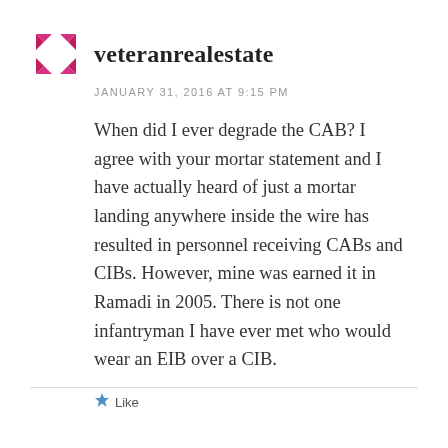[Figure (logo): Pinwheel/arrow logo made of pink/magenta triangular arrows arranged in a square pattern]
veteranrealestate
JANUARY 31, 2016 AT 9:15 PM
When did I ever degrade the CAB? I agree with your mortar statement and I have actually heard of just a mortar landing anywhere inside the wire has resulted in personnel receiving CABs and CIBs. However, mine was earned it in Ramadi in 2005. There is not one infantryman I have ever met who would wear an EIB over a CIB.
Like